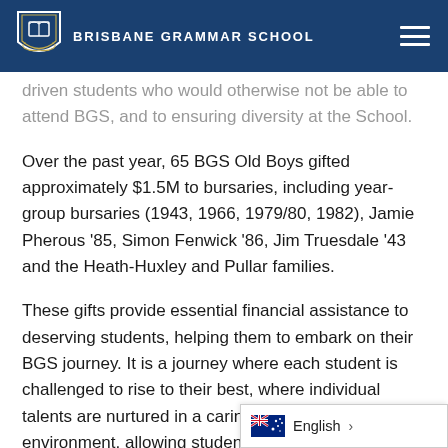Brisbane Grammar School
driven students who would otherwise not be able to attend BGS, and to ensuring diversity at the School.
Over the past year, 65 BGS Old Boys gifted approximately $1.5M to bursaries, including year-group bursaries (1943, 1966, 1979/80, 1982), Jamie Pherous ’85, Simon Fenwick ’86, Jim Truesdale ’43 and the Heath-Huxley and Pullar families.
These gifts provide essential financial assistance to deserving students, helping them to embark on their BGS journey. It is a journey where each student is challenged to rise to their best, where individual talents are nurtured in a caring and supportive environment, allowing students to grow into thoughtful and confident y